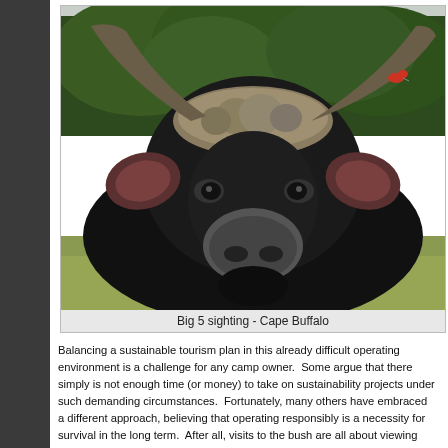[Figure (photo): Close-up photograph of a Cape Buffalo facing the camera directly, showing its massive curved horns, broad boss (horn base), dark fur, and large ears. A small red bird is perched on its back. Green bush and trees are visible in the background.]
Big 5 sighting - Cape Buffalo
Balancing a sustainable tourism plan in this already difficult operating environment is a challenge for any camp owner.  Some argue that there simply is not enough time (or money) to take on sustainability projects under such demanding circumstances.  Fortunately, many others have embraced a different approach, believing that operating responsibly is a necessity for survival in the long term.  After all, visits to the bush are all about viewing animals in their natural environment – so why wouldn't you want to be to protect that very environment?